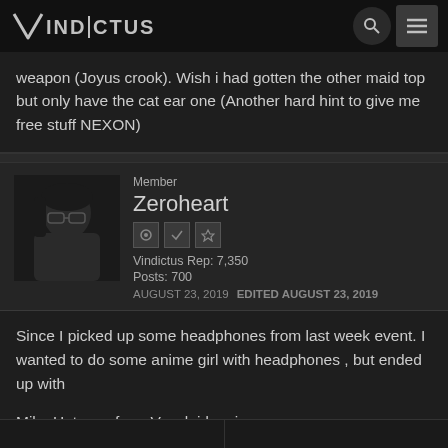VINDICTUS
weapon (Joyus crook). Wish i had gotten the other maid top but only have the cat ear one (Another hard hint to give me free stuff NEXON)
Member
Zeroheart
Vindictus Rep: 7,350
Posts: 700
AUGUST 23, 2019   EDITED AUGUST 23, 2019
Since I picked up some headphones from last week event. I wanted to do some anime girl with headphones , but ended up with

Miku Hatsune from Vocaloid series.